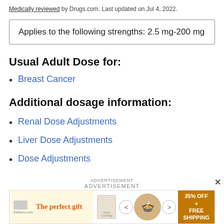Medically reviewed by Drugs.com. Last updated on Jul 4, 2022.
Applies to the following strengths: 2.5 mg-200 mg
Usual Adult Dose for:
Breast Cancer
Additional dosage information:
Renal Dose Adjustments
Liver Dose Adjustments
Dose Adjustments
ADVERTISEMENT
[Figure (other): Advertisement banner: The perfect gift - food product with 35% OFF + FREE SHIPPING]